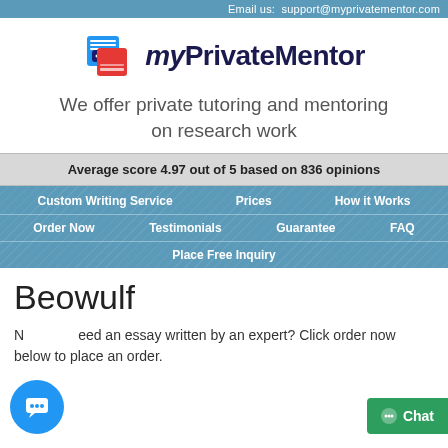Email us:  support@myprivatementor.com
[Figure (logo): myPrivateMentor logo with blue and red stacked books icon and bold dark blue text 'myPrivateMentor']
We offer private tutoring and mentoring on research work
Average score 4.97 out of 5 based on 836 opinions
Custom Writing Service | Prices | How it Works | Order Now | Testimonials | Guarantee | FAQ | Place Free Inquiry
Beowulf
Need an essay written by an expert? Click order now below to place an order.